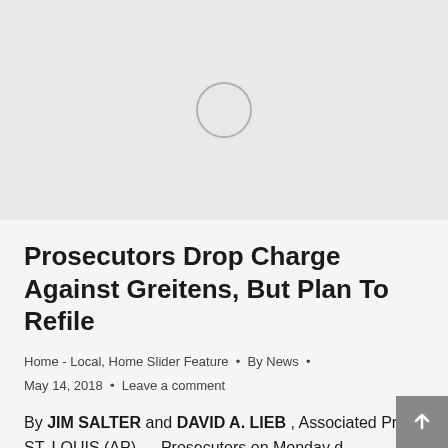[Figure (photo): Image placeholder with a light gray background and a thin gray circle in the center, indicating an unloaded image.]
Prosecutors Drop Charge Against Greitens, But Plan To Refile
Home - Local, Home Slider Feature • By News • May 14, 2018 • Leave a comment
By JIM SALTER and DAVID A. LIEB , Associated Press ST. LOUIS (AP) — Prosecutors on Monday d…